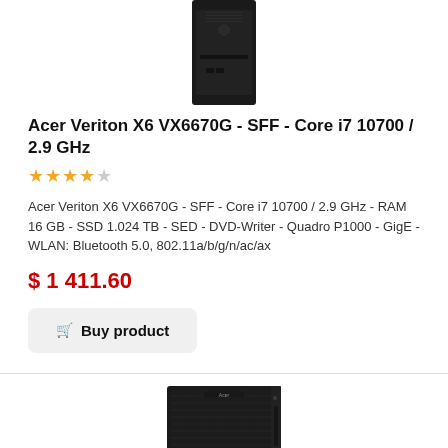[Figure (photo): Top portion of a dark/black SFF desktop computer tower, cropped at the top]
Acer Veriton X6 VX6670G - SFF - Core i7 10700 / 2.9 GHz
★★★★☆
Acer Veriton X6 VX6670G - SFF - Core i7 10700 / 2.9 GHz - RAM 16 GB - SSD 1.024 TB - SED - DVD-Writer - Quadro P1000 - GigE - WLAN: Bluetooth 5.0, 802.11a/b/g/n/ac/ax
$ 1 411.60
Buy product
[Figure (photo): Bottom portion of a dark desktop tower computer with carbon-fiber textured front panel, partially visible]